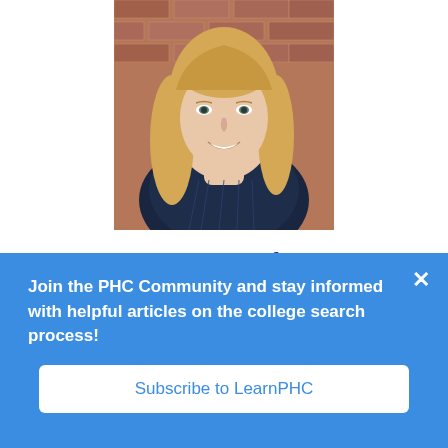[Figure (photo): Headshot photo of Jenn Wright, a woman with long blonde hair wearing a dark navy pinstripe sleeveless top, smiling, photographed against a brick wall background.]
Jenn Wright
Financial Aid Officer
Join the PHC Community and stay informed with helpful articles on the college search process!
Subscribe to LearnPHC